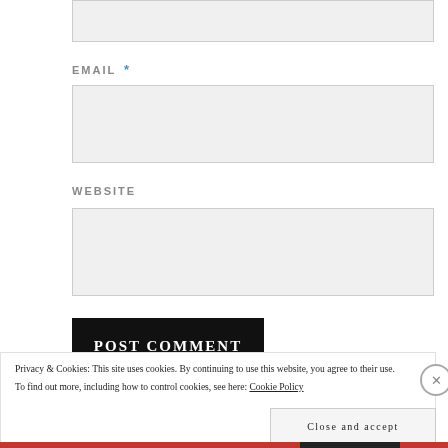EMAIL *
WEBSITE
POST COMMENT
Privacy & Cookies: This site uses cookies. By continuing to use this website, you agree to their use.
To find out more, including how to control cookies, see here: Cookie Policy
Close and accept